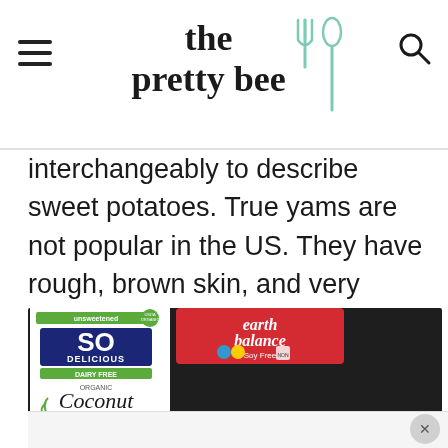the pretty bee
interchangeably to describe sweet potatoes. True yams are not popular in the US. They have rough, brown skin, and very starchy white flesh inside.
[Figure (photo): Food ingredients on dark background: SO Delicious Organic Coconut milk carton (unsweetened), Earth Balance Soy Free tub (shown twice, lid and label), and a sweet potato]